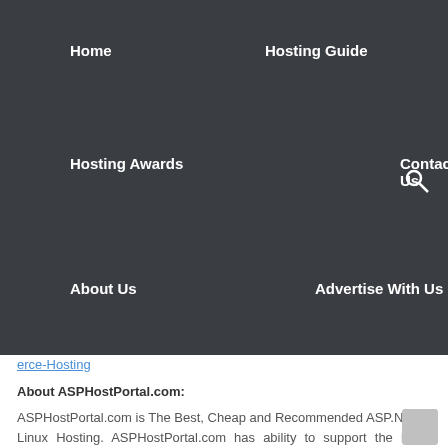Home | Hosting Guide | Hosting Awards | Contact Us | About Us | Advertise With Us
erce-Hosting
About ASPHostPortal.com:
ASPHostPortal.com is The Best, Cheap and Recommended ASP.NET & Linux Hosting. ASPHostPortal.com has ability to support the latest Microsoft, ASP.NET, and Linux technology, such as: such as: WebMatrix, Web Deploy, Visual Studio, Latest ASP.NET Version, Latest ASP.NET MVC Version, Silverlight and Visual Studio Light Switch, Latest MySql version, Latest PHPMyAdmin, Support PHP, etc. Their service includes shared hosting,